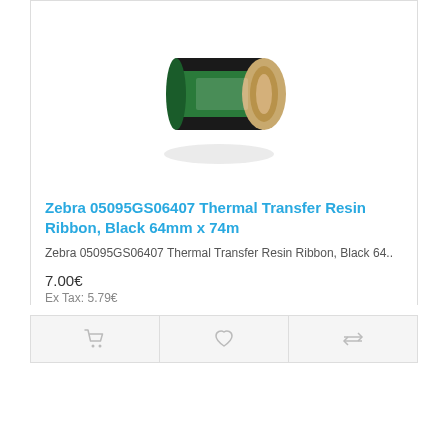[Figure (photo): Thermal transfer resin ribbon roll, black with green wrapper on cardboard core, viewed at an angle.]
Zebra 05095GS06407 Thermal Transfer Resin Ribbon, Black 64mm x 74m
Zebra 05095GS06407 Thermal Transfer Resin Ribbon, Black 64..
7.00€
Ex Tax: 5.79€
Showing 1 to 13 of 13 (1 Pages)
Specials
[Figure (logo): NTG North Technology Group logo with special price 0€ and Omniva text below.]